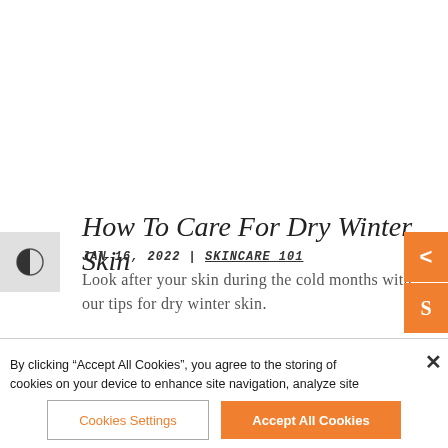How To Care For Dry Winter Skin
JAN 16, 2022 | SKINCARE 101
Look after your skin during the cold months with our tips for dry winter skin.
By clicking “Accept All Cookies”, you agree to the storing of cookies on your device to enhance site navigation, analyze site usage, and assist in our marketing efforts.
Cookies Settings
Accept All Cookies